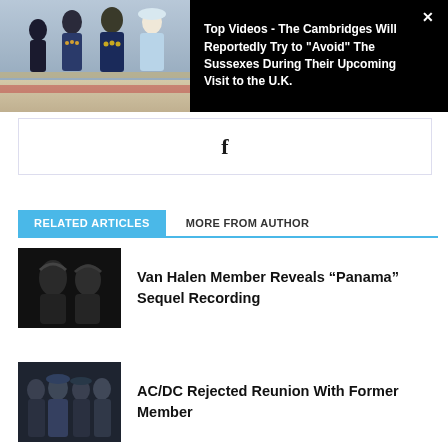[Figure (screenshot): Video banner with thumbnail of British royals on a balcony and headline text on black background with close button]
Top Videos - The Cambridges Will Reportedly Try to "Avoid" The Sussexes During Their Upcoming Visit to the U.K.
[Figure (screenshot): Facebook widget placeholder showing the Facebook 'f' logo]
RELATED ARTICLES   MORE FROM AUTHOR
[Figure (photo): Black and white photo of Van Halen band members]
Van Halen Member Reveals “Panama” Sequel Recording
[Figure (photo): Photo of AC/DC band members]
AC/DC Rejected Reunion With Former Member